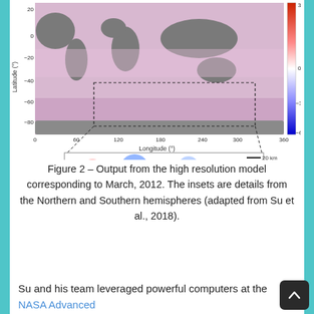[Figure (map): Global ocean model output map showing sea surface temperature anomalies for March 2012. Top panel: global map with latitude (°) on y-axis (-80 to 20) and longitude (°) on x-axis (0 to 360), with a color scale from blue (-6) through white (0) to red (top, ~3). A dashed box highlights a Southern Ocean region. Bottom inset: zoomed view of the highlighted region showing swirling red and blue eddies with a 20 km scale bar.]
Figure 2 – Output from the high resolution model corresponding to March, 2012. The insets are details from the Northern and Southern hemispheres (adapted from Su et al., 2018).
Su and his team leveraged powerful computers at the NASA Advanced